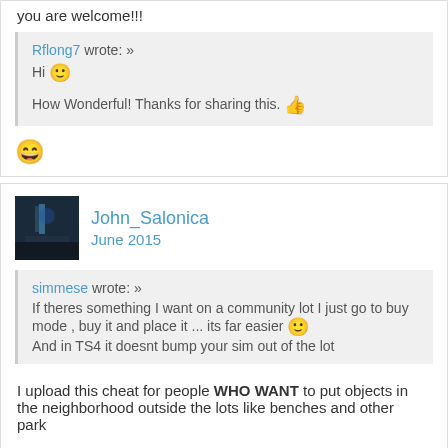you are welcome!!!
Rflong7 wrote: »
Hi 🙂

How Wonderful! Thanks for sharing this. 👍
😄
John_Salonica
June 2015
simmese wrote: »
If theres something I want on a community lot I just go to buy mode , buy it and place it ... its far easier 🙂
And in TS4 it doesnt bump your sim out of the lot
I upload this cheat for people WHO WANT to put objects in the neighborhood outside the lots like benches and other park